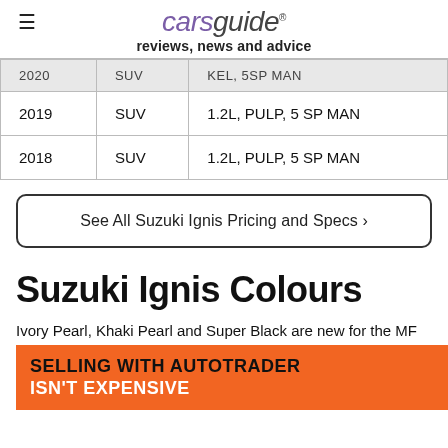carsguide reviews, news and advice
| 2020 | SUV | KEL, 5SP MAN |
| --- | --- | --- |
| 2019 | SUV | 1.2L, PULP, 5 SP MAN |
| 2018 | SUV | 1.2L, PULP, 5 SP MAN |
See All Suzuki Ignis Pricing and Specs ›
Suzuki Ignis Colours
Ivory Pearl, Khaki Pearl and Super Black are new for the MF Series II Ignis launched in 2020, with Mineral Grey, Fervent Red and [obscured]. All bar the latter [obscured]
[Figure (other): Orange advertisement banner: SELLING WITH AUTOTRADER ISN'T EXPENSIVE]